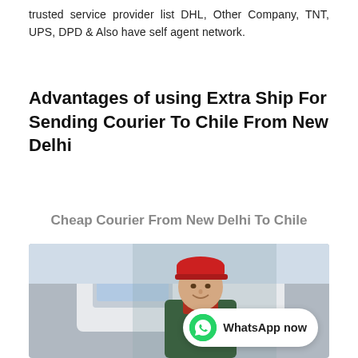trusted service provider list DHL, Other Company, TNT, UPS, DPD & Also have self agent network.
Advantages of using Extra Ship For Sending Courier To Chile From New Delhi
Cheap Courier From New Delhi To Chile
[Figure (photo): Smiling courier delivery man in red uniform and cap standing in front of a white van, with a WhatsApp now badge overlay in the bottom right corner.]